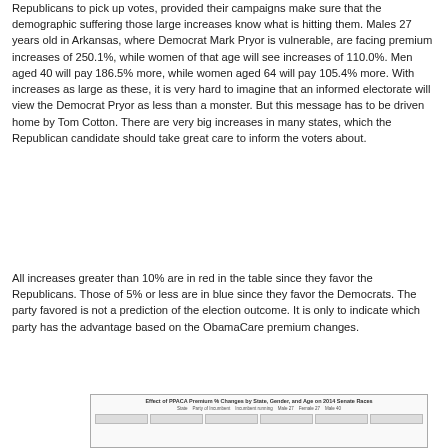Republicans to pick up votes, provided their campaigns make sure that the demographic suffering those large increases know what is hitting them. Males 27 years old in Arkansas, where Democrat Mark Pryor is vulnerable, are facing premium increases of 250.1%, while women of that age will see increases of 110.0%. Men aged 40 will pay 186.5% more, while women aged 64 will pay 105.4% more. With increases as large as these, it is very hard to imagine that an informed electorate will view the Democrat Pryor as less than a monster. But this message has to be driven home by Tom Cotton. There are very big increases in many states, which the Republican candidate should take great care to inform the voters about.
All increases greater than 10% are in red in the table since they favor the Republicans. Those of 5% or less are in blue since they favor the Democrats. The party favored is not a prediction of the election outcome. It is only to indicate which party has the advantage based on the ObamaCare premium changes.
[Figure (table-as-image): Partial view of a table titled 'Effect of PPACA Premium % Changes by State, Gender, and Age on 2014 Senate Races' showing column headers and beginning of data rows, partially cut off at bottom of page.]